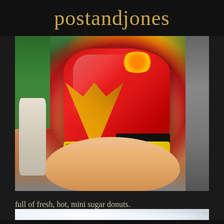postandjones
[Figure (photo): A hand holding a bag of mini sugar donuts (appears to be a fair/carnival vendor bag with a colorful label featuring a character and donut logo), outdoors with people visible in the background]
full of fresh, hot, mini sugar donuts.
[Figure (photo): Close-up photo of white powdered sugar, blurred/out of focus with bright white tones]